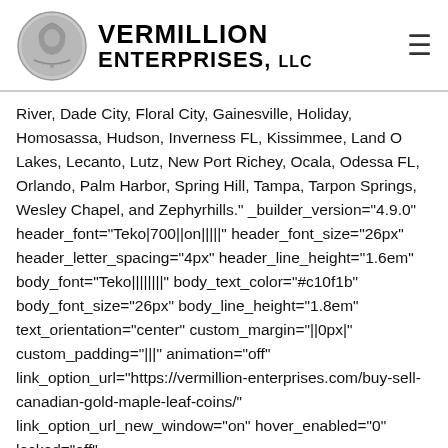VERMILLION ENTERPRISES, LLC
River, Dade City, Floral City, Gainesville, Holiday, Homosassa, Hudson, Inverness FL, Kissimmee, Land O Lakes, Lecanto, Lutz, New Port Richey, Ocala, Odessa FL, Orlando, Palm Harbor, Spring Hill, Tampa, Tarpon Springs, Wesley Chapel, and Zephyrhills." _builder_version="4.9.0" header_font="Teko|700||on|||||" header_font_size="26px" header_letter_spacing="4px" header_line_height="1.6em" body_font="Teko||||||||" body_text_color="#c10f1b" body_font_size="26px" body_line_height="1.8em" text_orientation="center" custom_margin="||0px|" custom_padding="|||" animation="off" link_option_url="https://vermillion-enterprises.com/buy-sell-canadian-gold-maple-leaf-coins/" link_option_url_new_window="on" hover_enabled="0" locked="off"